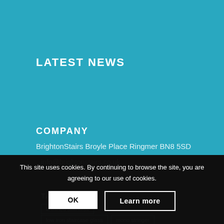LATEST NEWS
COMPANY
BrightonStairs Broyle Place Ringmer BN8 5SD
info@brightonstairs.co.uk
This site uses cookies. By continuing to browse the site, you are agreeing to our use of cookies.
OK
Learn more
TAGS
brushed stainless
low iron staircase glass
mono stringer